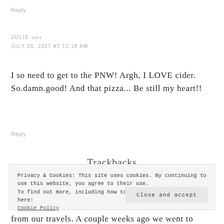Reply
JULIE says
JULY 28, 2017 AT 12:18 AM
I so need to get to the PNW! Argh, I LOVE cider. So.damn.good! And that pizza... Be still my heart!!
Reply
Trackbacks
Privacy & Cookies: This site uses cookies. By continuing to use this website, you agree to their use.
To find out more, including how to control cookies, see here:
Cookie Policy
Close and accept
from our travels. A couple weeks ago we went to